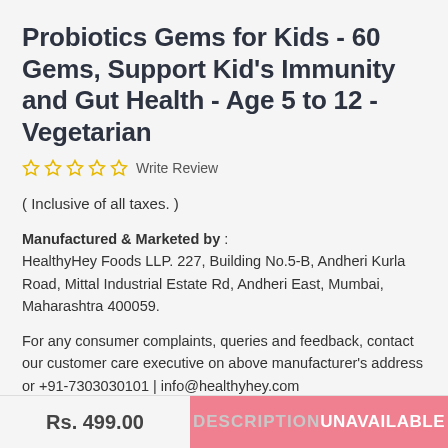Probiotics Gems for Kids - 60 Gems, Support Kid's Immunity and Gut Health - Age 5 to 12 - Vegetarian
☆ ☆ ☆ ☆ ☆ Write Review
( Inclusive of all taxes. )
Manufactured & Marketed by : HealthyHey Foods LLP. 227, Building No.5-B, Andheri Kurla Road, Mittal Industrial Estate Rd, Andheri East, Mumbai, Maharashtra 400059.
For any consumer complaints, queries and feedback, contact our customer care executive on above manufacturer's address or +91-7303030101 | info@healthyhey.com
Rs. 499.00   DESCRIPTION UNAVAILABLE